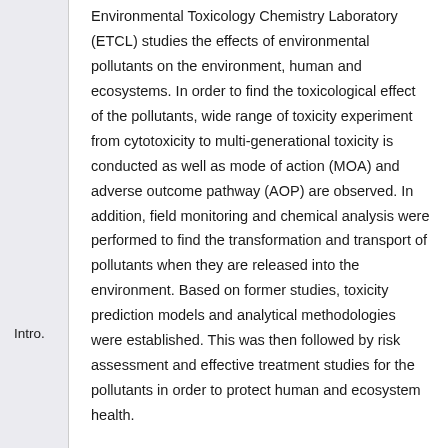Intro.
Environmental Toxicology Chemistry Laboratory (ETCL) studies the effects of environmental pollutants on the environment, human and ecosystems. In order to find the toxicological effect of the pollutants, wide range of toxicity experiment from cytotoxicity to multi-generational toxicity is conducted as well as mode of action (MOA) and adverse outcome pathway (AOP) are observed. In addition, field monitoring and chemical analysis were performed to find the transformation and transport of pollutants when they are released into the environment. Based on former studies, toxicity prediction models and analytical methodologies were established. This was then followed by risk assessment and effective treatment studies for the pollutants in order to protect human and ecosystem health.